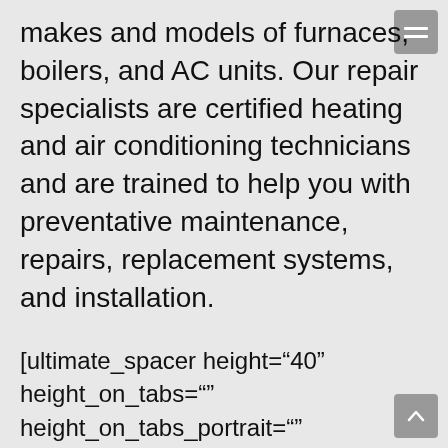makes and models of furnaces, boilers, and AC units. Our repair specialists are certified heating and air conditioning technicians and are trained to help you with preventative maintenance, repairs, replacement systems, and installation.
[ultimate_spacer height="40" height_on_tabs="" height_on_tabs_portrait="" height_on_mob_landscape="" height_on_mob=""][ultimate_spacer height="40" height_on_tabs="" height_on_tabs_portrait="" height_on_mob_landscape="" height_on_mob=""]